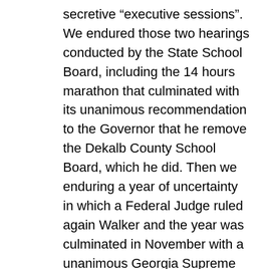secretive “executive sessions”. We endured those two hearings conducted by the State School Board, including the 14 hours marathon that culminated with its unanimous recommendation to the Governor that he remove the Dekalb County School Board, which he did. Then we enduring a year of uncertainty in which a Federal Judge ruled again Walker and the year was culminated in November with a unanimous Georgia Supreme Court ruling against Walker. And I think that we all held such high hopes for a new appointed school board with superb credentials only to see it really turn into a big disappointment with its decisions to maintain the status quo, to buy administrators new cars, to reject the new idea proposed by Druid Hills, to